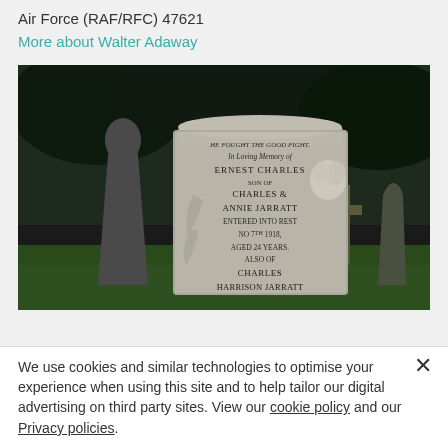Air Force (RAF/RFC) 47621
More about Walter Adaway
[Figure (photo): A gravestone in a cemetery reading: HE FOUGHT THE GOOD FIGHT, In Loving Memory of ERNEST CHARLES SON OF CHARLES & ANNIE JARRATT ENTERED INTO REST NO 7TH 1918, AGED 24 YEARS. ALSO OF CHARLES HARRISON JARRATT. Stone has floral decoration. Multiple other gravestones visible in background.]
We use cookies and similar technologies to optimise your experience when using this site and to help tailor our digital advertising on third party sites. View our cookie policy and our Privacy policies.